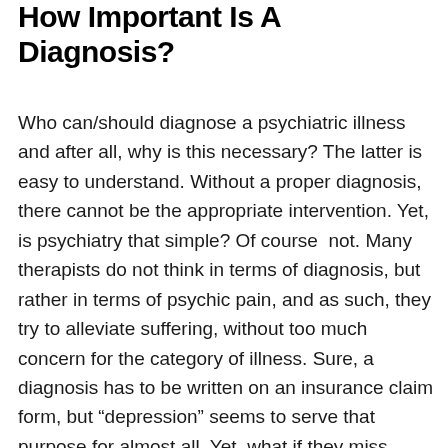How Important Is A Diagnosis?
Who can/should diagnose a psychiatric illness and after all, why is this necessary? The latter is easy to understand. Without a proper diagnosis, there cannot be the appropriate intervention. Yet, is psychiatry that simple? Of course  not. Many therapists do not think in terms of diagnosis, but rather in terms of psychic pain, and as such, they try to alleviate suffering, without too much concern for the category of illness. Sure, a diagnosis has to be written on an insurance claim form, but “depression” seems to serve that purpose for almost all. Yet, what if they miss something? What if they think someone is schizophrenic, when, in fact, they are looking at a drug-induced psychosis? What if they miss that someone’s